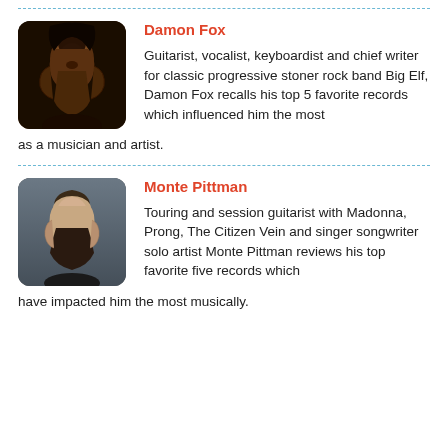[Figure (photo): Photo of Damon Fox, man with long dark hair and beard wearing a dark hat]
Damon Fox
Guitarist, vocalist, keyboardist and chief writer for classic progressive stoner rock band Big Elf, Damon Fox recalls his top 5 favorite records which influenced him the most as a musician and artist.
[Figure (photo): Photo of Monte Pittman, man with short hair and a full beard]
Monte Pittman
Touring and session guitarist with Madonna, Prong, The Citizen Vein and singer songwriter solo artist Monte Pittman reviews his top favorite five records which have impacted him the most musically.